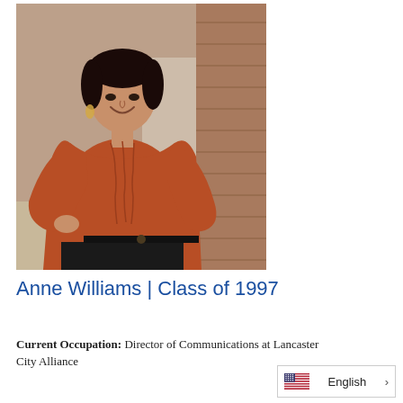[Figure (photo): Portrait photo of a woman with short dark hair wearing a rust/terracotta long-sleeve blouse and black high-waisted pants, posing with hand on hip in front of a brick building backdrop, looking upward and smiling.]
Anne Williams | Class of 1997
Current Occupation: Director of Communications at Lancaster City Alliance